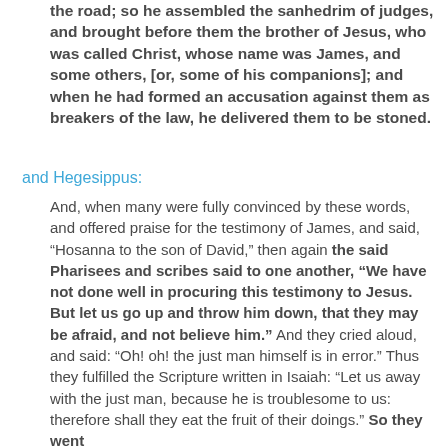the road; so he assembled the sanhedrim of judges, and brought before them the brother of Jesus, who was called Christ, whose name was James, and some others, [or, some of his companions]; and when he had formed an accusation against them as breakers of the law, he delivered them to be stoned.
and Hegesippus:
And, when many were fully convinced by these words, and offered praise for the testimony of James, and said, “Hosanna to the son of David,” then again the said Pharisees and scribes said to one another, “We have not done well in procuring this testimony to Jesus. But let us go up and throw him down, that they may be afraid, and not believe him.” And they cried aloud, and said: “Oh! oh! the just man himself is in error.” Thus they fulfilled the Scripture written in Isaiah: “Let us away with the just man, because he is troublesome to us: therefore shall they eat the fruit of their doings.” So they went